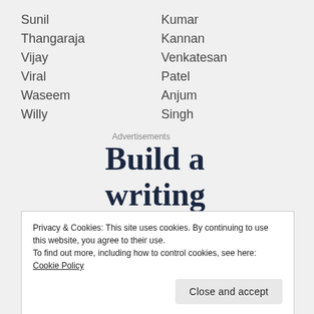Sunil   Kumar
Thangaraja   Kannan
Vijay   Venkatesan
Viral   Patel
Waseem   Anjum
Willy   Singh
Advertisements
Build a writing habit. Post on the go
Privacy & Cookies: This site uses cookies. By continuing to use this website, you agree to their use.
To find out more, including how to control cookies, see here: Cookie Policy